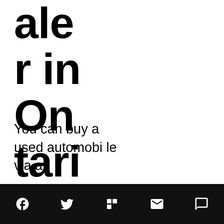ale r in On tari o
You can buy a used automobile via a
Social share bar with icons: Facebook, Twitter, Flipboard, Email, Comment